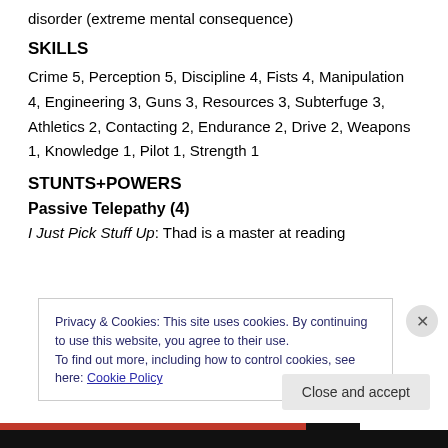disorder (extreme mental consequence)
SKILLS
Crime 5, Perception 5, Discipline 4, Fists 4, Manipulation 4, Engineering 3, Guns 3, Resources 3, Subterfuge 3, Athletics 2, Contacting 2, Endurance 2, Drive 2, Weapons 1, Knowledge 1, Pilot 1, Strength 1
STUNTS+POWERS
Passive Telepathy (4)
I Just Pick Stuff Up: Thad is a master at reading
Privacy & Cookies: This site uses cookies. By continuing to use this website, you agree to their use.
To find out more, including how to control cookies, see here: Cookie Policy
Close and accept